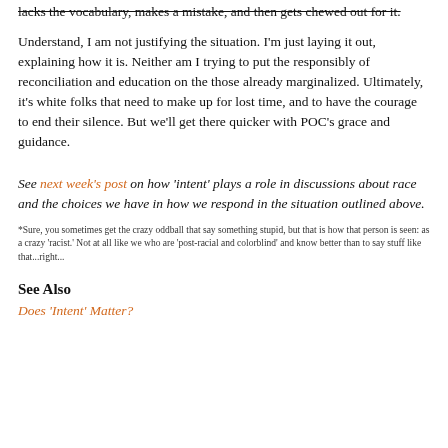lacks the vocabulary, makes a mistake, and then gets chewed out for it.
Understand, I am not justifying the situation. I'm just laying it out, explaining how it is. Neither am I trying to put the responsibly of reconciliation and education on the those already marginalized. Ultimately, it's white folks that need to make up for lost time, and to have the courage to end their silence. But we'll get there quicker with POC's grace and guidance.
See next week's post on how 'intent' plays a role in discussions about race and the choices we have in how we respond in the situation outlined above.
*Sure, you sometimes get the crazy oddball that say something stupid, but that is how that person is seen: as a crazy 'racist.' Not at all like we who are 'post-racial and colorblind' and know better than to say stuff like that...right...
See Also
Does 'Intent' Matter?